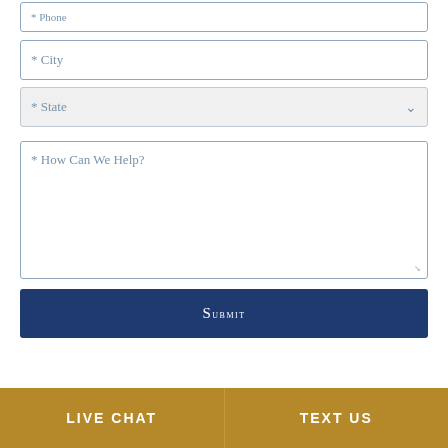* Phone
* City
* State
* How Can We Help?
Submit
LIVE CHAT
TEXT US